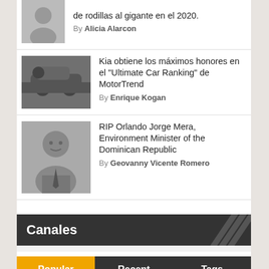de rodillas al gigante en el 2020. By Alicia Alarcon
[Figure (photo): Person placeholder silhouette icon]
Kia obtiene los máximos honores en el "Ultimate Car Ranking" de MotorTrend By Enrique Kogan
[Figure (photo): Black and white photo of a car/person]
RIP Orlando Jorge Mera, Environment Minister of the Dominican Republic By Geovanny Vicente Romero
[Figure (photo): Black and white portrait photo of a man in suit]
Canales
Popular | Recent | Tags
Google Contrata a Estudiante Mexicano 18 Jun '14
[Figure (photo): Photo of a student at a computer]
– Facebook – 10 Años de